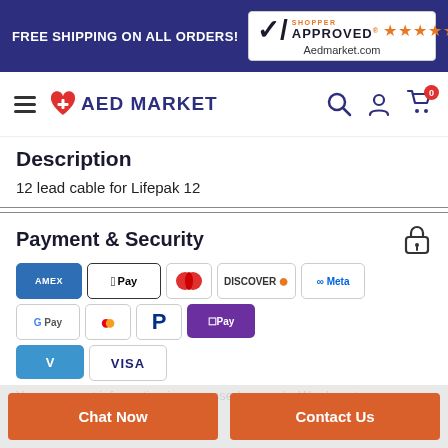FREE SHIPPING ON ALL ORDERS! | Shopper Approved ★★★★★ Aedmarket.com
[Figure (logo): AED Market logo with heart icon]
Description
12 lead cable for Lifepak 12
Payment & Security
[Figure (infographic): Payment method icons: AMEX, Apple Pay, Diners Club, Discover, Meta Pay, Google Pay, Mastercard, PayPal, OPay, Venmo, Visa]
Your payment information is processed securely. We do not
Chat Now | Contact Us